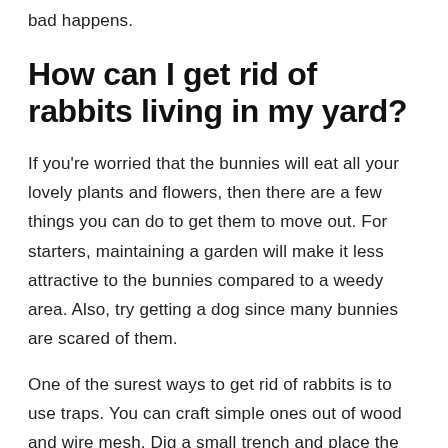bad happens.
How can I get rid of rabbits living in my yard?
If you're worried that the bunnies will eat all your lovely plants and flowers, then there are a few things you can do to get them to move out. For starters, maintaining a garden will make it less attractive to the bunnies compared to a weedy area. Also, try getting a dog since many bunnies are scared of them.
One of the surest ways to get rid of rabbits is to use traps. You can craft simple ones out of wood and wire mesh. Dig a small trench and place the trap inside of it